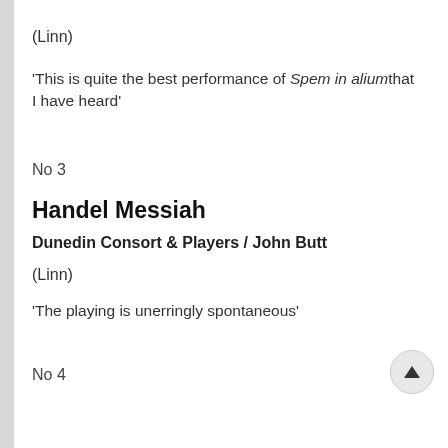(Linn)
‘This is quite the best performance of Spem in alium that I have heard’
No 3
Handel Messiah
Dunedin Consort & Players / John Butt
(Linn)
‘The playing is unerringly spontaneous’
No 4